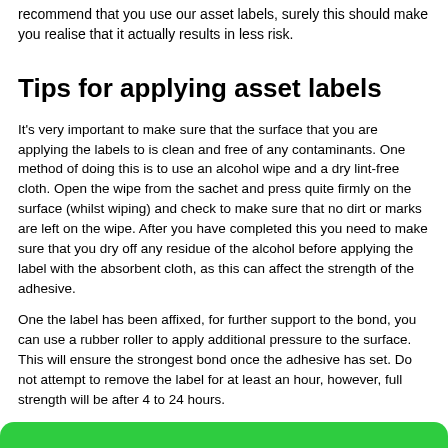recommend that you use our asset labels, surely this should make you realise that it actually results in less risk.
Tips for applying asset labels
It's very important to make sure that the surface that you are applying the labels to is clean and free of any contaminants. One method of doing this is to use an alcohol wipe and a dry lint-free cloth. Open the wipe from the sachet and press quite firmly on the surface (whilst wiping) and check to make sure that no dirt or marks are left on the wipe. After you have completed this you need to make sure that you dry off any residue of the alcohol before applying the label with the absorbent cloth, as this can affect the strength of the adhesive.
One the label has been affixed, for further support to the bond, you can use a rubber roller to apply additional pressure to the surface. This will ensure the strongest bond once the adhesive has set. Do not attempt to remove the label for at least an hour, however, full strength will be after 4 to 24 hours.